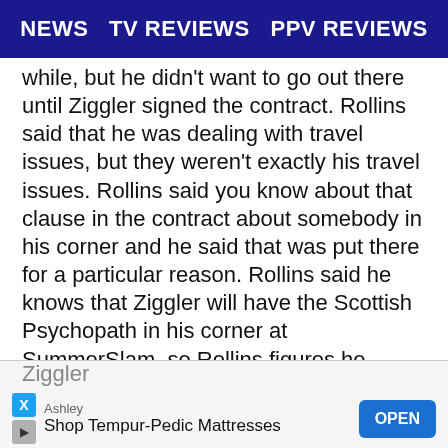NEWS   TV REVIEWS   PPV REVIEWS
while, but he didn't want to go out there until Ziggler signed the contract. Rollins said that he was dealing with travel issues, but they weren't exactly his travel issues. Rollins said you know about that clause in the contract about somebody in his corner and he said that was put there for a particular reason. Rollins said he knows that Ziggler will have the Scottish Psychopath in his corner at SummerSlam, so Rollins figures he ought to have a lunatic in his. The crowd cheered because they knew what that meant.

Welcome back Dean Ambrose! Ambrose had a shorter haircut and more of a beard. Ambrose looked more muscular in the upper body. Ambrose walked down to the ring with Rollins. Ambrose tossed Ziggler... McIntyre, Rollins... Ambrose hit
[Figure (other): Advertisement banner: Ashley - Shop Tempur-Pedic Mattresses - OPEN button]